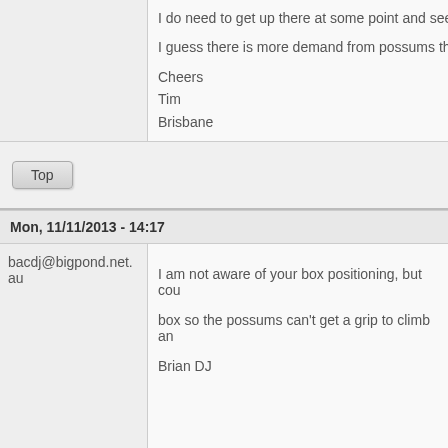I do need to get up there at some point and see
I guess there is more demand from possums th
Cheers
Tim
Brisbane
Top
Mon, 11/11/2013 - 14:17
bacdj@bigpond.net.au
I am not aware of your box positioning, but cou
box so the possums can't get a grip to climb an
Brian DJ
Top